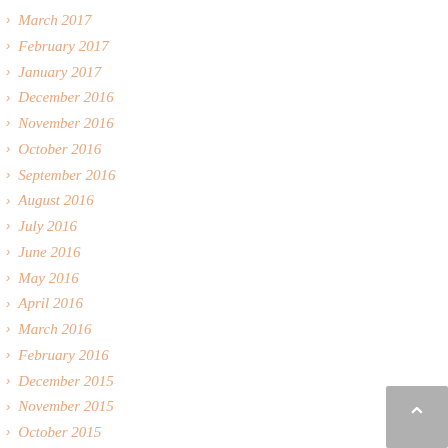March 2017
February 2017
January 2017
December 2016
November 2016
October 2016
September 2016
August 2016
July 2016
June 2016
May 2016
April 2016
March 2016
February 2016
December 2015
November 2015
October 2015
September 2015